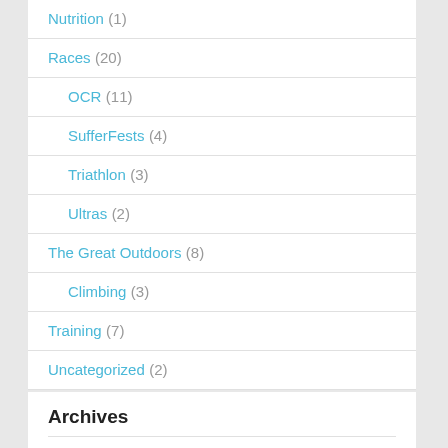Nutrition (1)
Races (20)
OCR (11)
SufferFests (4)
Triathlon (3)
Ultras (2)
The Great Outdoors (8)
Climbing (3)
Training (7)
Uncategorized (2)
Archives